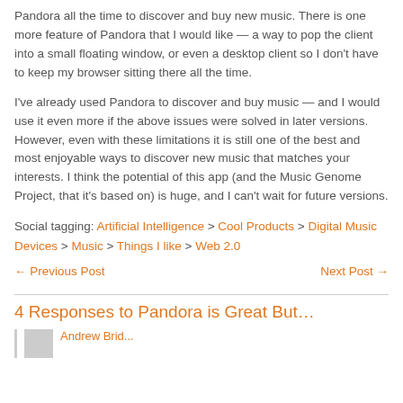Pandora all the time to discover and buy new music. There is one more feature of Pandora that I would like — a way to pop the client into a small floating window, or even a desktop client so I don't have to keep my browser sitting there all the time.
I've already used Pandora to discover and buy music — and I would use it even more if the above issues were solved in later versions. However, even with these limitations it is still one of the best and most enjoyable ways to discover new music that matches your interests. I think the potential of this app (and the Music Genome Project, that it's based on) is huge, and I can't wait for future versions.
Social tagging: Artificial Intelligence > Cool Products > Digital Music Devices > Music > Things I like > Web 2.0
← Previous Post    Next Post →
4 Responses to Pandora is Great But...